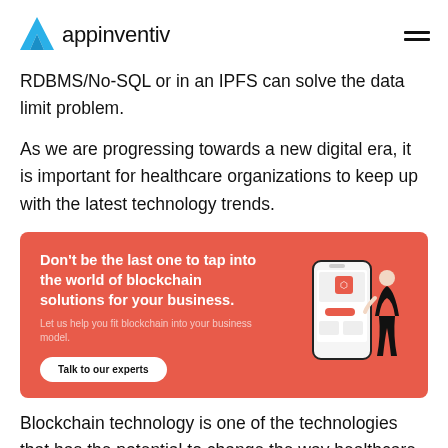appinventiv
RDBMS/No-SQL or in an IPFS can solve the data limit problem.
As we are progressing towards a new digital era, it is important for healthcare organizations to keep up with the latest technology trends.
[Figure (infographic): Red banner advertisement: 'Don't be the last one to tap into the world of blockchain solutions for your business. Let us help you fit blockchain into your business model.' with a 'Talk to our experts' button and a smartphone illustration with a person on the right.]
Blockchain technology is one of the technologies that has the potential to change the way healthcare is delivered. So, let's see what's the future of blockchain technology in